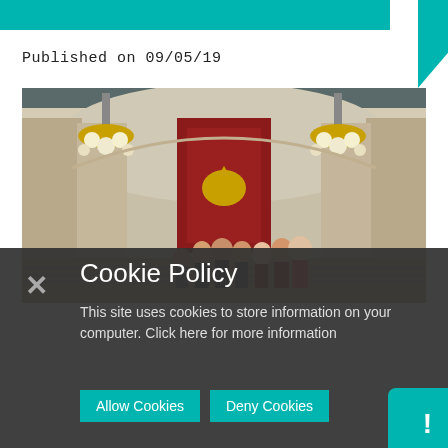Published on 09/05/19
[Figure (photo): Group of people posing inside an ornate building with grand staircase, chandeliers, and a red ceremonial banner with a coat of arms]
Cookie Policy
This site uses cookies to store information on your computer. Click here for more information
Allow Cookies
Deny Cookies